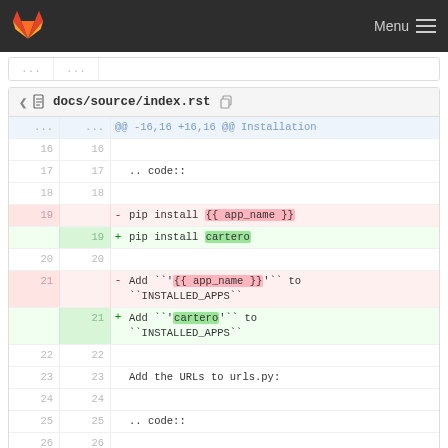GitLab — Menu
[Figure (screenshot): GitLab diff view showing docs/source/index.rst with removed and added lines for pip install and INSTALLED_APPS entries]
@@ -16,16 +16,16 @@ Installation
16   16
17   17    .. code::
18   18
19        -     pip install {{ app_name }}
     19   +     pip install cartero
20   20
21        - Add ```'{{ app_name }}'``` to ``INSTALLED_APPS``
     21   + Add ```'cartero'``` to ``INSTALLED_APPS``
22   22
23   23    Add the URLs to urls.py:
24   24
25   25    .. code::
26   26
27        -     # Django users